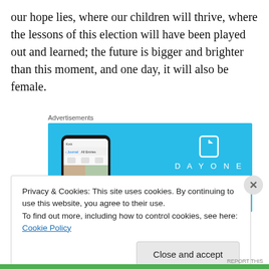our hope lies, where our children will thrive, where the lessons of this election will have been played out and learned; the future is bigger and brighter than this moment, and one day, it will also be female.
Advertisements
[Figure (screenshot): DayOne app advertisement on light blue background showing a phone mockup with the DayOne journal app interface, the DayOne logo and name, and tagline 'Your Journal for life']
Privacy & Cookies: This site uses cookies. By continuing to use this website, you agree to their use.
To find out more, including how to control cookies, see here: Cookie Policy
Close and accept